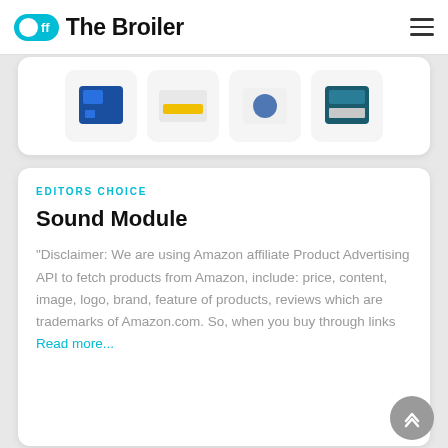Off The Broiler
[Figure (screenshot): Partial product image card showing four product icons/thumbnails for Sound Module category]
EDITORS CHOICE
Sound Module
"Disclaimer: We are using Amazon affiliate Product Advertising API to fetch products from Amazon, include: price, content, image, logo, brand, feature of products, reviews which are trademarks of Amazon.com. So, when you buy through links
Read more...
[Figure (screenshot): Partial bottom card showing product icons for another article]